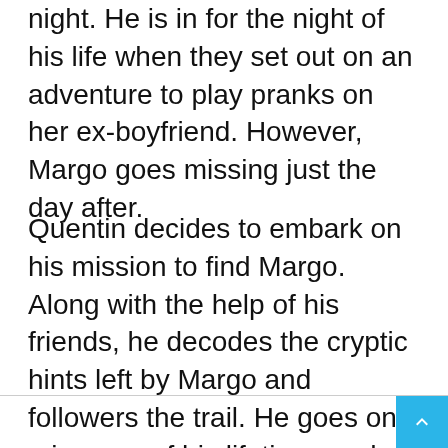night. He is in for the night of his life when they set out on an adventure to play pranks on her ex-boyfriend. However, Margo goes missing just the day after.
Quentin decides to embark on his mission to find Margo. Along with the help of his friends, he decodes the cryptic hints left by Margo and followers the trail. He goes on a journey of his lifetime, and truly understands matters of friendship and true love. So can his life ever be the same again? The film is charming, slightly mysterious, and engaging with a relatable performance. The cast breathes some life into the story and makes the plot seem even more extraordinary.